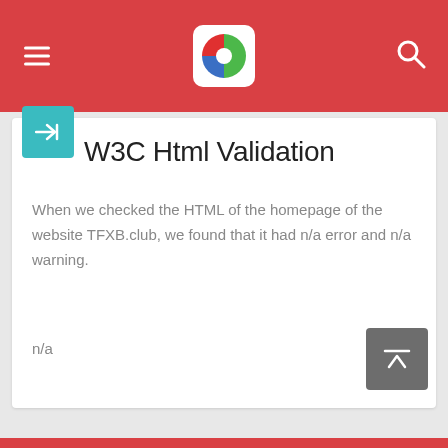W3C Html Validation — site analysis tool header with logo
W3C Html Validation
When we checked the HTML of the homepage of the website TFXB.club, we found that it had n/a error and n/a warning.
n/a